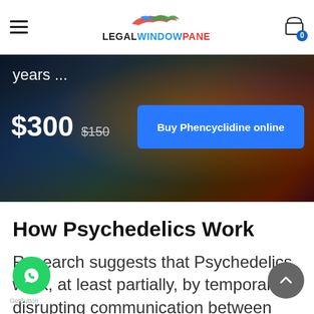LEGALWINDOWPANE
years ...
$300  $150
Buy Phencyclidine online
How Psychedelics Work
Research suggests that Psychedelics work, at least partially, by temporarily disrupting communication between chemical systems throughout the brain